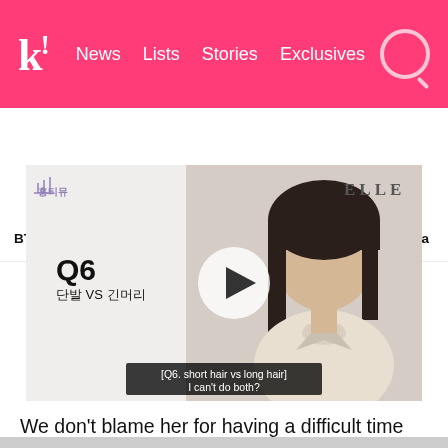k! News  Lists  Stories  Exclusives
BTS  BLACKPINK  TWICE  Girls' Generation  NCT  aespa
[Figure (screenshot): Video thumbnail showing a woman with shoulder-length dark hair in a cream top. Korean text Q6 단발 VS 긴머리 on left side, ELLE logo top right, play button overlay center, subtitle [Q6. short hair vs long hair] I can't do both?]
We don't blame her for having a difficult time deciding, she looks stunning in both styles!